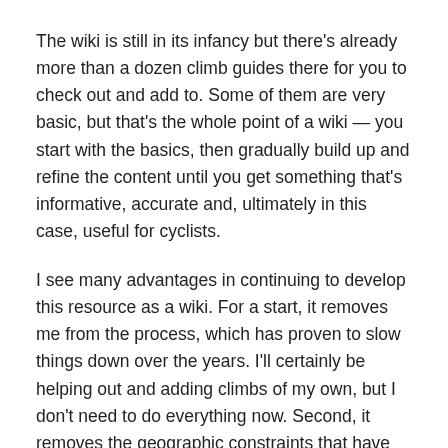The wiki is still in its infancy but there's already more than a dozen climb guides there for you to check out and add to. Some of them are very basic, but that's the whole point of a wiki — you start with the basics, then gradually build up and refine the content until you get something that's informative, accurate and, ultimately in this case, useful for cyclists.
I see many advantages in continuing to develop this resource as a wiki. For a start, it removes me from the process, which has proven to slow things down over the years. I'll certainly be helping out and adding climbs of my own, but I don't need to do everything now. Second, it removes the geographic constraints that have stopped this site becoming a resource for all of Australia and beyond. That is, I don't have to travel in order to research and write up climb guides — someone with local